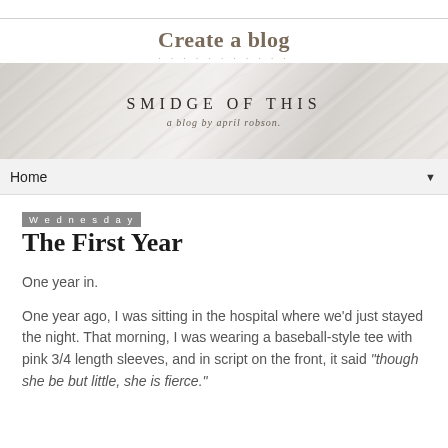Create a blog
[Figure (illustration): Marble-textured blog banner header image for 'SMIDGE OF THIS — a blog by april robson']
Home
Wednesday
The First Year
One year in.
One year ago, I was sitting in the hospital where we'd just stayed the night. That morning, I was wearing a baseball-style tee with pink 3/4 length sleeves, and in script on the front, it said "though she be but little, she is fierce."